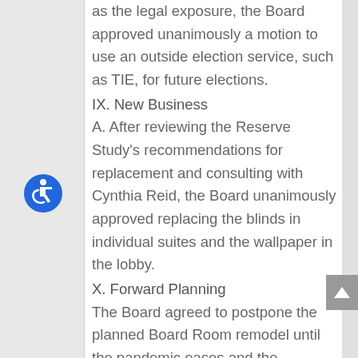as the legal exposure, the Board approved unanimously a motion to use an outside election service, such as TIE, for future elections.
IX. New Business
A. After reviewing the Reserve Study's recommendations for replacement and consulting with Cynthia Reid, the Board unanimously approved replacing the blinds in individual suites and the wallpaper in the lobby.
X. Forward Planning
The Board agreed to postpone the planned Board Room remodel until the pandemic eases and the Association's financial situation stabilizes.
XI. Election Results and